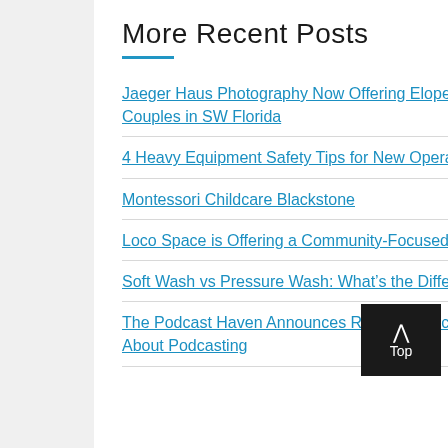More Recent Posts
Jaeger Haus Photography Now Offering Elopement Photoshoots to Budget-Conscious Couples in SW Florida
4 Heavy Equipment Safety Tips for New Operators
Montessori Childcare Blackstone
Loco Space is Offering a Community-Focused Co-working Space in Toronto
Soft Wash vs Pressure Wash: What’s the Difference?
The Podcast Haven Announces Recent Launch of Their New Podcast: Clipped, A Podcast About Podcasting